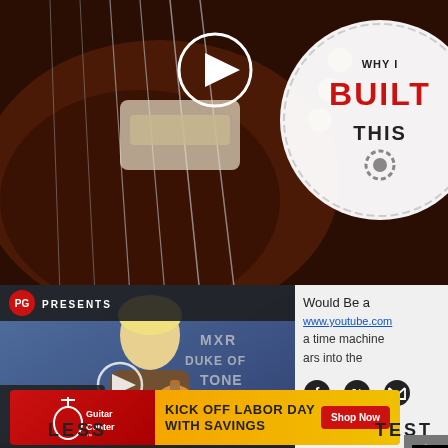[Figure (screenshot): Top section showing a close-up of a vintage archtop guitar with dark wood and strings visible, with a circular play button overlay in the center. Top right shows a circular badge with text 'WHY I', 'BUILT' in red, and 'THIS' on white background with gear/saw design.]
[Figure (screenshot): Middle left: Video thumbnail with 'PG PRESENTS' bar at top, person with blonde hair holding guitar, 'MXR DUKE OF TONE' text overlay on right, 'FIRST LOOK' badge bottom left, play button in center, 'WHY I BUILT THIS |' text bar at bottom.]
Would Be a
www.youtube.com
a time machine
ars into the
[Figure (infographic): Social media icons: Facebook (circle F), Twitter (bird), Email (envelope)]
[Figure (screenshot): Guitar Center advertisement banner with red left panel showing Guitar Center logo, and orange/yellow right panel with text 'KICK OFF LABOR DAY WITH SAVINGS' and red 'Shop Now' button.]
LESS
TEST